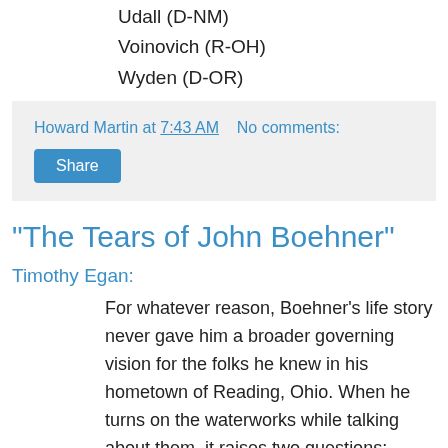Udall (D-NM)
Voinovich (R-OH)
Wyden (D-OR)
Howard Martin at 7:43 AM   No comments:
Share
"The Tears of John Boehner"
Timothy Egan:
For whatever reason, Boehner’s life story never gave him a broader governing vision for the folks he knew in his hometown of Reading, Ohio. When he turns on the waterworks while talking about them, it raises two questions:
Is Boehner crying because he escaped that fate? Or because of the person he has become — a politician whose votes show he couldn’t care less